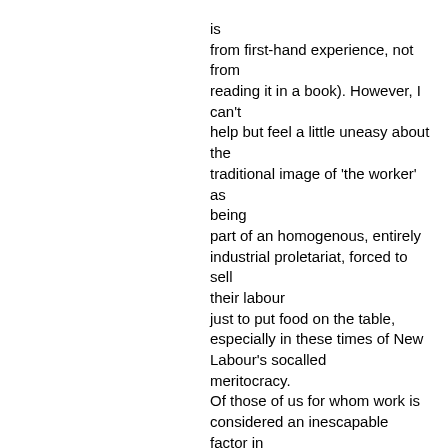is from first-hand experience, not from reading it in a book). However, I can't help but feel a little uneasy about the traditional image of 'the worker' as being part of an homogenous, entirely industrial proletariat, forced to sell their labour just to put food on the table, especially in these times of New Labour's socalled meritocracy. Of those of us for whom work is considered an inescapable factor in their daily grind, many are not merely working to scrape a living for themselves and their families but to equip themselves with other trappings of the consumer society, which they have been led to believe are nothing short of basic human rights. After all, how will people know what a noble and rewarding thing selling